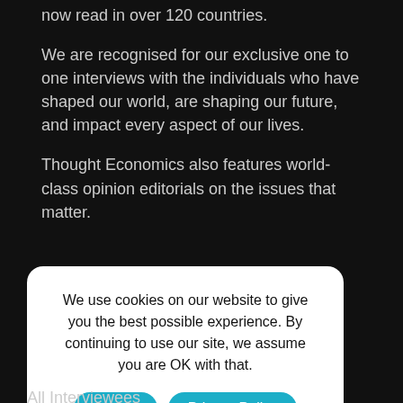now read in over 120 countries.
We are recognised for our exclusive one to one interviews with the individuals who have shaped our world, are shaping our future, and impact every aspect of our lives.
Thought Economics also features world-class opinion editorials on the issues that matter.
We use cookies on our website to give you the best possible experience. By continuing to use our site, we assume you are OK with that.
Accept
Privacy Policy
All Interviewees